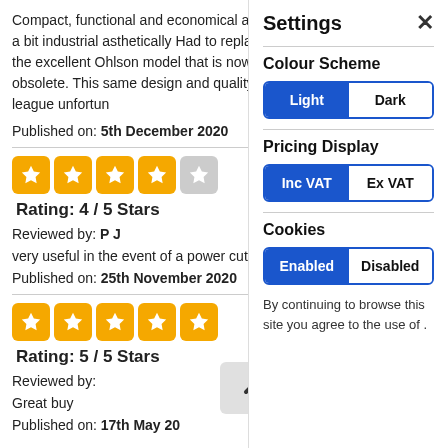Compact, functional and economical albeit a bit industrial asthetically Had to replace the excellent Ohlson model that is now obsolete. This same design and quality league unfortun
Published on: 5th December 2020
[Figure (other): 4 out of 5 stars rating icons - 4 gold star squares and 1 grey star square]
Rating: 4 / 5 Stars
Reviewed by: P J
very useful in the event of a power cut
Published on: 25th November 2020
[Figure (other): 5 out of 5 stars rating icons - 5 gold star squares]
Rating: 5 / 5 Stars
Reviewed by:
Great buy
Published on: 17th May 20
Settings
Colour Scheme
Light / Dark toggle
Pricing Display
Inc VAT / Ex VAT toggle
Cookies
Enabled / Disabled toggle
By continuing to browse this site you agree to the use of .